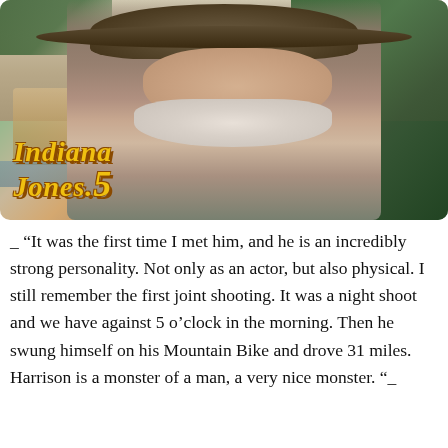[Figure (photo): Movie promotional image for Indiana Jones 5 showing an older Harrison Ford wearing the iconic fedora hat against a jungle/adventure backdrop with the Indiana Jones 5 logo in yellow text at the lower left]
_ “It was the first time I met him, and he is an incredibly strong personality. Not only as an actor, but also physical. I still remember the first joint shooting. It was a night shoot and we have against 5 o’clock in the morning. Then he swung himself on his Mountain Bike and drove 31 miles. Harrison is a monster of a man, a very nice monster. “_